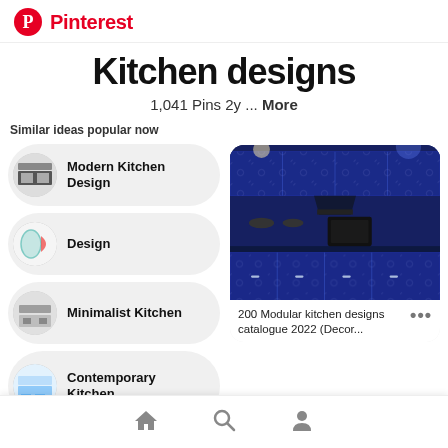Pinterest
Kitchen designs
1,041 Pins 2y ... More
Similar ideas popular now
Modern Kitchen Design
Design
Minimalist Kitchen
Contemporary Kitchen
Kitchen S
[Figure (screenshot): Blue modular kitchen cabinets with floral pattern accents]
200 Modular kitchen designs catalogue 2022 (Decor...
Home | Search | Profile navigation bar